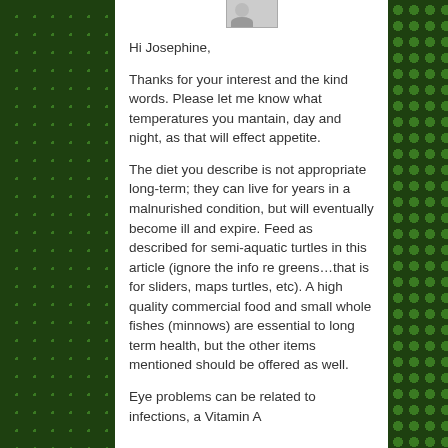[Figure (photo): Small avatar/profile photo thumbnail at top of message thread]
Hi Josephine,

Thanks for your interest and the kind words. Please let me know what temperatures you mantain, day and night, as that will effect appetite.

The diet you describe is not appropriate long-term; they can live for years in a malnurished condition, but will eventually become ill and expire. Feed as described for semi-aquatic turtles in this article (ignore the info re greens…that is for sliders, maps turtles, etc). A high quality commercial food and small whole fishes (minnows) are essential to long term health, but the other items mentioned should be offered as well.

Eye problems can be related to infections, a Vitamin A